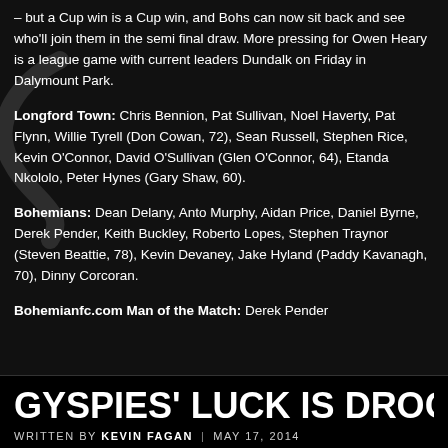– but a Cup win is a Cup win, and Bohs can now sit back and see who'll join them in the semi final draw. More pressing for Owen Heary is a league game with current leaders Dundalk on Friday in Dalymount Park.
Longford Town: Chris Bennion, Pat Sullivan, Noel Haverty, Pat Flynn, Willie Tyrell (Don Cowan, 72), Sean Russell, Stephen Rice, Kevin O'Connor, David O'Sullivan (Glen O'Connor, 64), Etanda Nkololo, Peter Hynes (Gary Shaw, 60).
Bohemians: Dean Delany, Anto Murphy, Aidan Price, Daniel Byrne, Derek Pender, Keith Buckley, Roberto Lopes, Stephen Traynor (Steven Beattie, 78), Kevin Devaney, Jake Hyland (Paddy Kavanagh, 70), Dinny Corcoran.
Bohemianfc.com Man of the Match: Derek Pender
GYSPIES' LUCK IS DROG GONE
WRITTEN BY KEVIN FAGAN | MAY 17, 2014